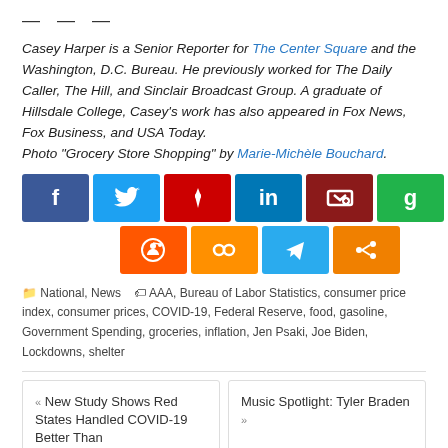— — —
Casey Harper is a Senior Reporter for The Center Square and the Washington, D.C. Bureau. He previously worked for The Daily Caller, The Hill, and Sinclair Broadcast Group. A graduate of Hillsdale College, Casey's work has also appeared in Fox News, Fox Business, and USA Today.
Photo "Grocery Store Shopping" by Marie-Michèle Bouchard.
[Figure (other): Social media share buttons: Facebook, Twitter, Flipboard, LinkedIn, Parler, Gab (top row); Reddit, Mix, Telegram, Share (bottom row)]
National, News   AAA, Bureau of Labor Statistics, consumer price index, consumer prices, COVID-19, Federal Reserve, food, gasoline, Government Spending, groceries, inflation, Jen Psaki, Joe Biden, Lockdowns, shelter
« New Study Shows Red States Handled COVID-19 Better Than
Music Spotlight: Tyler Braden »